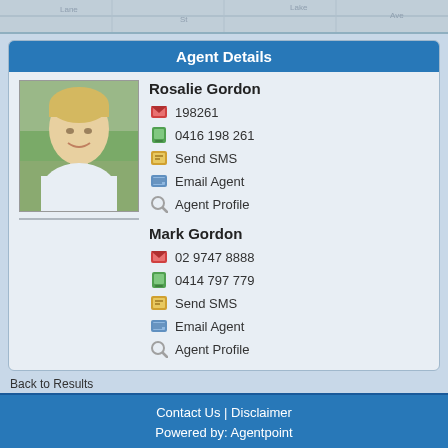[Figure (photo): Map strip at top of page]
Agent Details
[Figure (photo): Photo of Rosalie Gordon, a woman with short blonde hair]
Rosalie Gordon
198261
0416 198 261
Send SMS
Email Agent
Agent Profile
Mark Gordon
02 9747 8888
0414 797 779
Send SMS
Email Agent
Agent Profile
Back to Results
Contact Us | Disclaimer
Powered by: Agentpoint